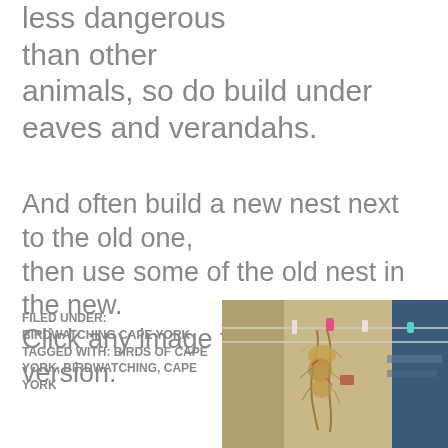less dangerous than other animals, so do build under eaves and verandahs.
And often build a new nest next to the old one, then use some of the old nest in the new. Click any image to see larger version.
FILED UNDER: BIRDWATCHING CAPE YORK TAGGED WITH: BIRDS OF CAPE YORK, BIRDWATCHING, CAPE YORK
[Figure (photo): A bird nest hanging from a clothesline with pegs, inside what appears to be a laundry area with blue walls and yellow surfaces in the background.]